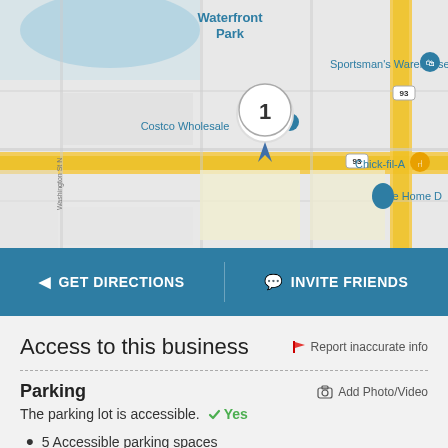[Figure (map): Google Maps screenshot showing area with Waterfront Park, Sportsman's Warehouse, Costco Wholesale, Chick-fil-A, The Home Depot, and a numbered blue pin marker labeled 1 at the center. Road 93 visible.]
GET DIRECTIONS
INVITE FRIENDS
Access to this business
Report inaccurate info
Parking
Add Photo/Video
The parking lot is accessible.  ✔ Yes
5 Accessible parking spaces